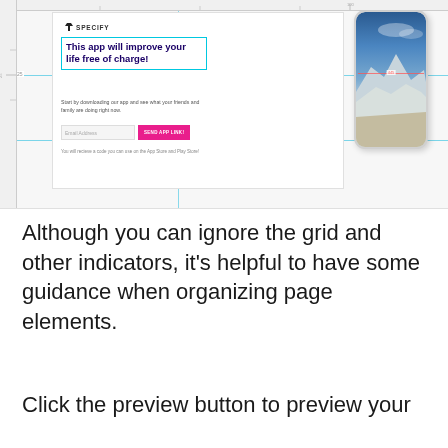[Figure (screenshot): A UI design tool screenshot showing a webpage mockup with grid lines. The mockup contains: a logo 'SPECIFY', a headline 'This app will improve your life free of charge!' in a cyan selection box, body text about downloading the app, an email input field, a pink 'SEND APP LINK!' button, fine print text. A phone mockup on the right shows a mountain/snow landscape photo. Grid/ruler guides are visible.]
Although you can ignore the grid and other indicators, it's helpful to have some guidance when organizing page elements.
Click the preview button to preview your